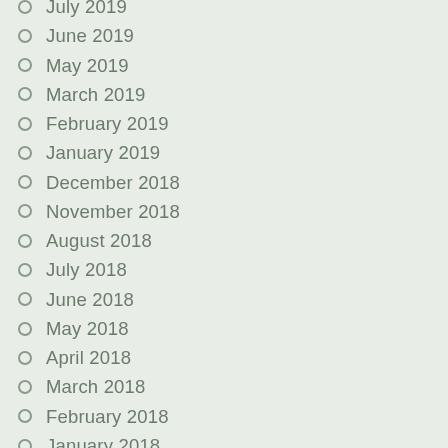July 2019
June 2019
May 2019
March 2019
February 2019
January 2019
December 2018
November 2018
August 2018
July 2018
June 2018
May 2018
April 2018
March 2018
February 2018
January 2018